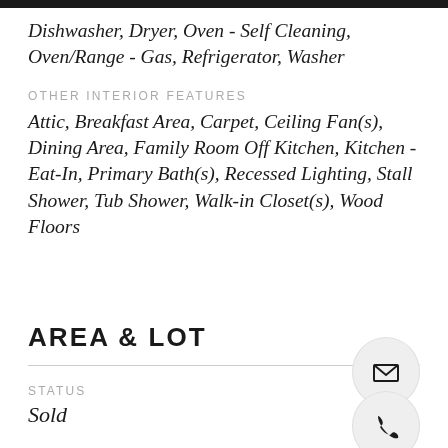Dishwasher, Dryer, Oven - Self Cleaning, Oven/Range - Gas, Refrigerator, Washer
OTHER INTERIOR FEATURES
Attic, Breakfast Area, Carpet, Ceiling Fan(s), Dining Area, Family Room Off Kitchen, Kitchen - Eat-In, Primary Bath(s), Recessed Lighting, Stall Shower, Tub Shower, Walk-in Closet(s), Wood Floors
AREA & LOT
STATUS
Sold
LIVING AREA